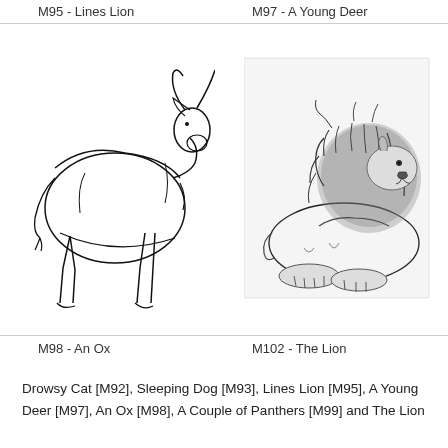M95 - Lines Lion
M97 - A Young Deer
[Figure (illustration): Line drawing of an ox viewed from behind/side, showing horns and body detail]
[Figure (illustration): Detailed sketch of a lion resting, with prominent mane, facing right]
M98 - An Ox
M102 - The Lion
Drowsy Cat [M92], Sleeping Dog [M93], Lines Lion [M95], A Young Deer [M97], An Ox [M98], A Couple of Panthers [M99] and The Lion